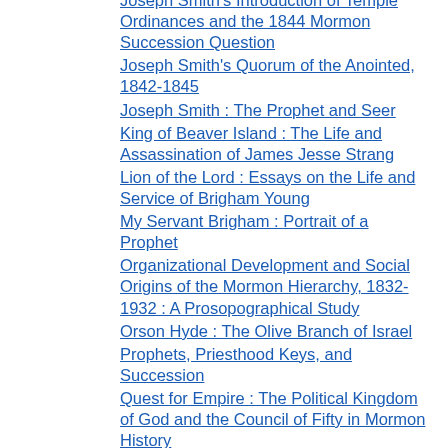Joseph Smith's Introduction of Temple Ordinances and the 1844 Mormon Succession Question
Joseph Smith's Quorum of the Anointed, 1842-1845
Joseph Smith : The Prophet and Seer
King of Beaver Island : The Life and Assassination of James Jesse Strang
Lion of the Lord : Essays on the Life and Service of Brigham Young
My Servant Brigham : Portrait of a Prophet
Organizational Development and Social Origins of the Mormon Hierarchy, 1832-1932 : A Prosopographical Study
Orson Hyde : The Olive Branch of Israel
Prophets, Priesthood Keys, and Succession
Quest for Empire : The Political Kingdom of God and the Council of Fifty in Mormon History
Sidney Rigdon : A Portrait of Religious Excess
Succession in the Church